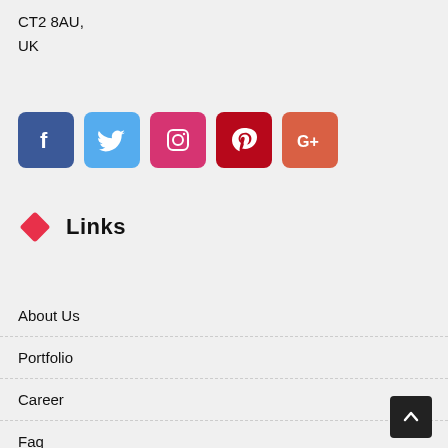CT2 8AU,
UK
[Figure (illustration): Row of 5 social media icons: Facebook (blue), Twitter (light blue), Instagram (pink/red), Pinterest (dark red), Google+ (orange-red)]
Links
About Us
Portfolio
Career
Faq